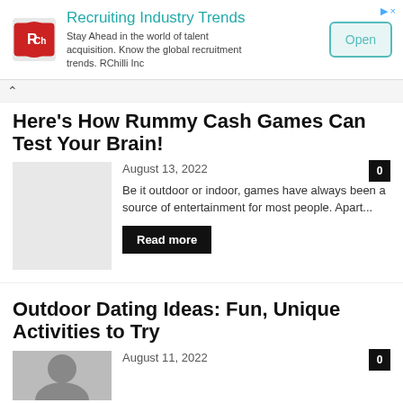[Figure (other): RChilli advertisement banner: logo, title 'Recruiting Industry Trends', description text, and Open button]
Here's How Rummy Cash Games Can Test Your Brain!
August 13, 2022
Be it outdoor or indoor, games have always been a source of entertainment for most people. Apart...
Read more
Outdoor Dating Ideas: Fun, Unique Activities to Try
August 11, 2022